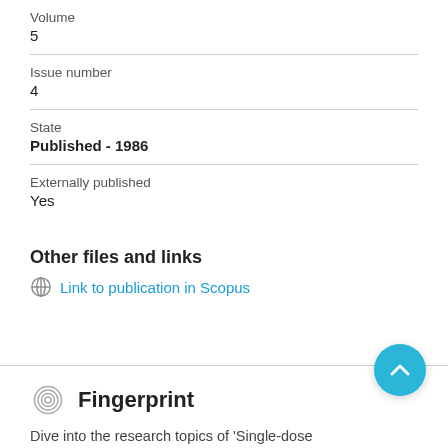Volume
5
Issue number
4
State
Published - 1986
Externally published
Yes
Other files and links
Link to publication in Scopus
Fingerprint
Dive into the research topics of 'Single-dose